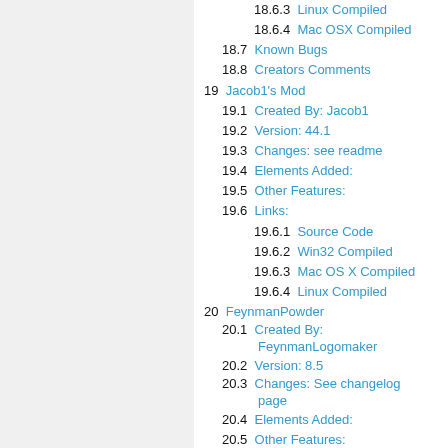18.6.3  Linux Compiled
18.6.4  Mac OSX Compiled
18.7  Known Bugs
18.8  Creators Comments
19  Jacob1's Mod
19.1  Created By: Jacob1
19.2  Version: 44.1
19.3  Changes: see readme
19.4  Elements Added:
19.5  Other Features:
19.6  Links:
19.6.1  Source Code
19.6.2  Win32 Compiled
19.6.3  Mac OS X Compiled
19.6.4  Linux Compiled
20  FeynmanPowder
20.1  Created By: FeynmanLogomaker
20.2  Version: 8.5
20.3  Changes: See changelog page
20.4  Elements Added:
20.5  Other Features:
20.6  Downloads: